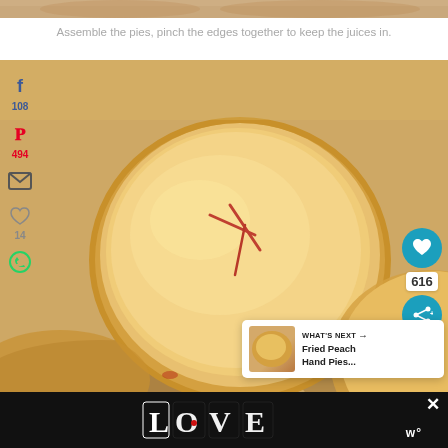[Figure (photo): Top partial strip of baked hand pies on parchment]
Assemble the pies, pinch the edges together to keep the juices in.
[Figure (photo): Close-up photo of golden baked hand pies on parchment paper with social share sidebar (Facebook 108, Pinterest 494, email, heart 14, WhatsApp icons) and right-side buttons (heart/616/share). What's Next overlay: Fried Peach Hand Pies...]
[Figure (other): Advertisement bar at bottom with LOVE logo in decorative lettering and close button X]